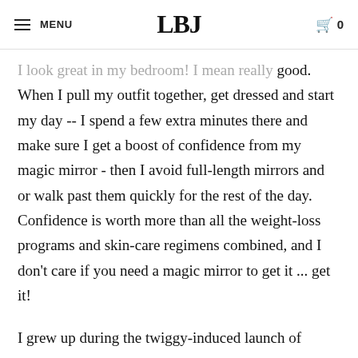MENU | LBJ | 0
I look great in my bedroom! I mean really good. When I pull my outfit together, get dressed and start my day -- I spend a few extra minutes there and make sure I get a boost of confidence from my magic mirror - then I avoid full-length mirrors and or walk past them quickly for the rest of the day. Confidence is worth more than all the weight-loss programs and skin-care regimens combined, and I don't care if you need a magic mirror to get it ... get it!
I grew up during the twiggy-induced launch of anorexia in the seventies. It's a sticky thing to shake off! Little by little I have learned to accept the fact that at 5 foot 3 and